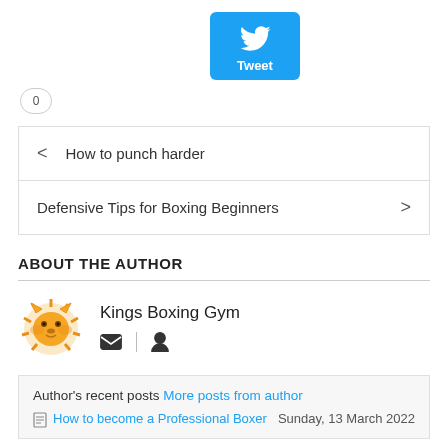[Figure (logo): Twitter Tweet button: blue rounded square with white bird icon and 'Tweet' label]
0
< How to punch harder
Defensive Tips for Boxing Beginners >
ABOUT THE AUTHOR
[Figure (logo): Lion head logo icon in orange/gold color for Kings Boxing Gym]
Kings Boxing Gym
Author's recent posts  More posts from author
How to become a Professional Boxer   Sunday, 13 March 2022